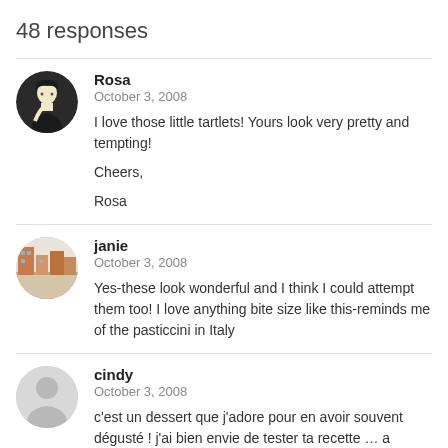48 responses
Rosa
October 3, 2008

I love those little tartlets! Yours look very pretty and tempting!

Cheers,

Rosa
janie
October 3, 2008

Yes-these look wonderful and I think I could attempt them too! I love anything bite size like this-reminds me of the pasticcini in Italy
cindy
October 3, 2008

c'est un dessert que j'adore pour en avoir souvent dégusté ! j'ai bien envie de tester ta recette … a bientôt